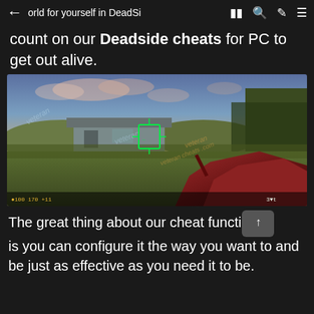orld for yourself in DeadSi...
count on our Deadside cheats for PC to get out alive.
[Figure (screenshot): First-person shooter game screenshot from Deadside showing a player holding a red rifle, aiming with a green crosshair/scope at a building in a field setting. The image has multiple 'veteran' watermarks overlaid in light blue and orange.]
The great thing about our cheat function is you can configure it the way you want to and be just as effective as you need it to be.